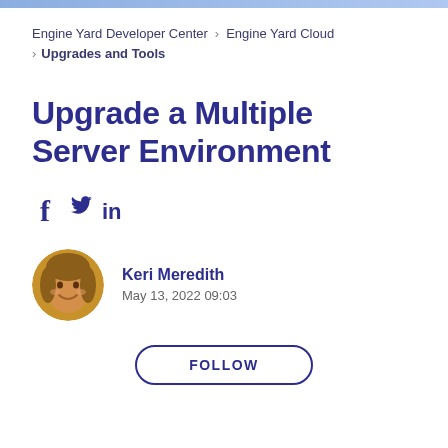Engine Yard Developer Center > Engine Yard Cloud > Upgrades and Tools
Upgrade a Multiple Server Environment
[Figure (other): Social media share icons: Facebook (f), Twitter (bird), LinkedIn (in)]
[Figure (photo): Circular avatar photo of Keri Meredith, a woman with short blonde/brown hair, smiling]
Keri Meredith
May 13, 2022 09:03
FOLLOW